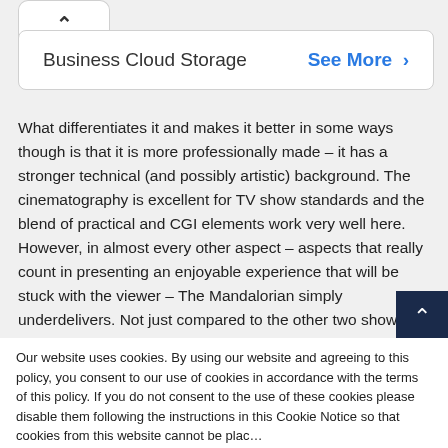Business Cloud Storage   See More >
What differentiates it and makes it better in some ways though is that it is more professionally made – it has a stronger technical (and possibly artistic) background. The cinematography is excellent for TV show standards and the blend of practical and CGI elements work very well here. However, in almost every other aspect – aspects that really count in presenting an enjoyable experience that will be stuck with the viewer – The Mandalorian simply underdelivers. Not just compared to the other two shows I've mentioned but in general.
But just to stick with my two examples, Xena and Hercules, yes, they are corny as hell, yes, they are tongue-in-cheek, but they are actually fun to watch. They have real, well-defined
Our website uses cookies. By using our website and agreeing to this policy, you consent to our use of cookies in accordance with the terms of this policy. If you do not consent to the use of these cookies please disable them following the instructions in this Cookie Notice so that cookies from this website cannot be placed